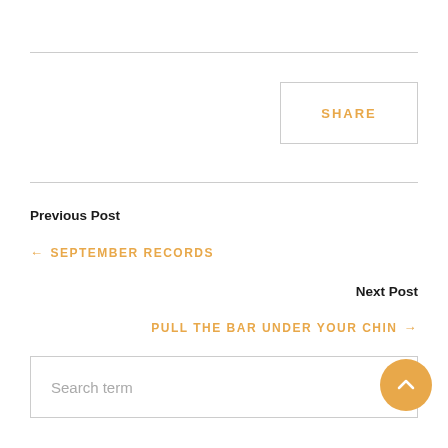SHARE
Previous Post
← SEPTEMBER RECORDS
Next Post
PULL THE BAR UNDER YOUR CHIN →
Search term